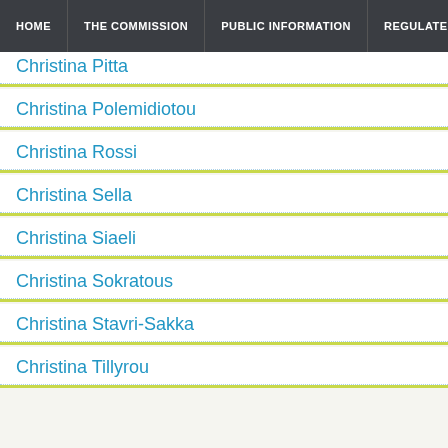HOME | THE COMMISSION | PUBLIC INFORMATION | REGULATED EN...
Christina Pitta
Christina Polemidiotou
Christina Rossi
Christina Sella
Christina Siaeli
Christina Sokratous
Christina Stavri-Sakka
Christina Tillyrou